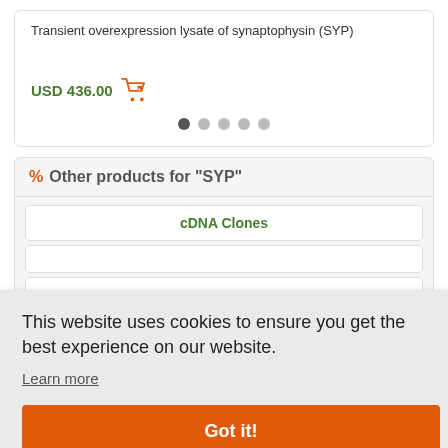Transient overexpression lysate of synaptophysin (SYP)
USD 436.00
Other products for "SYP"
cDNA Clones
This website uses cookies to ensure you get the best experience on our website.
Learn more
Got it!
Live Chat Online